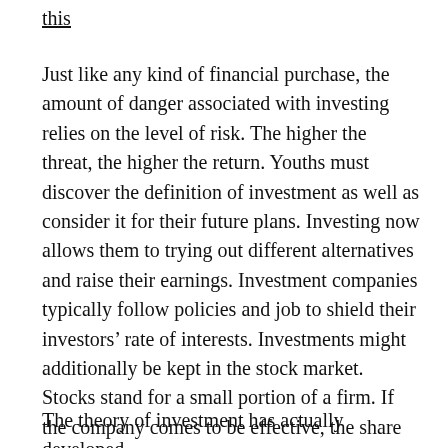this
Just like any kind of financial purchase, the amount of danger associated with investing relies on the level of risk. The higher the threat, the higher the return. Youths must discover the definition of investment as well as consider it for their future plans. Investing now allows them to trying out different alternatives and raise their earnings. Investment companies typically follow policies and job to shield their investors’ rate of interests. Investments might additionally be kept in the stock market. Stocks stand for a small portion of a firm. If the company comes to be effective, the share rate will likely climb. Some companies also make cash money payments to investors, which even more boosts the value of the shares.
The theory of investment has actually developed